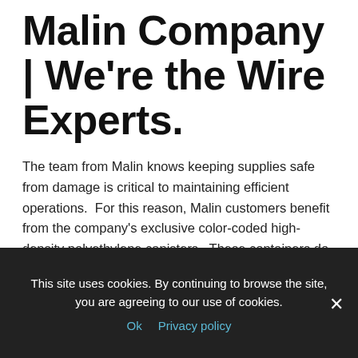Malin Company | We're the Wire Experts.
The team from Malin knows keeping supplies safe from damage is critical to maintaining efficient operations.  For this reason, Malin customers benefit from the company's exclusive color-coded high-density polyethylene canisters.  These containers do not degrade as conventional paper safety lock wire canisters do. In addition, Malin's
This site uses cookies. By continuing to browse the site, you are agreeing to our use of cookies.
Ok  Privacy policy